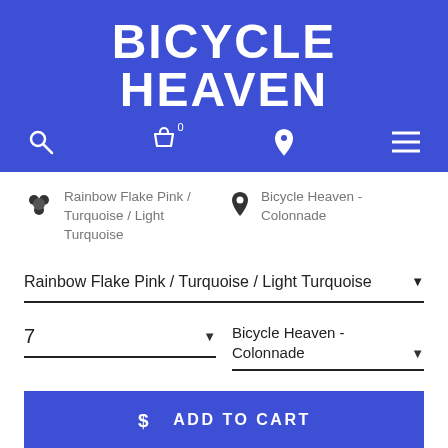BICYCLE HEAVEN
[Figure (screenshot): Navigation bar with search, shopping cart (0 items), location pin, and hamburger menu icons on blue background]
Rainbow Flake Pink / Turquoise / Light Turquoise
Bicycle Heaven - Colonnade
Rainbow Flake Pink / Turquoise / Light Turquoise
7
Bicycle Heaven - Colonnade
$ ADD TO CART